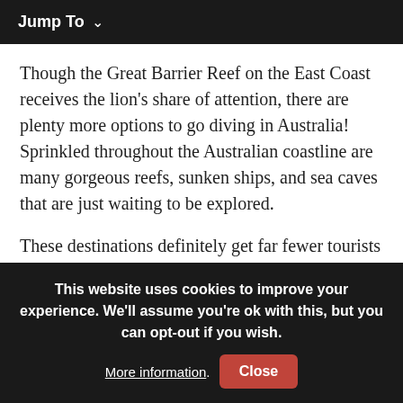Jump To ∨
Though the Great Barrier Reef on the East Coast receives the lion's share of attention, there are plenty more options to go diving in Australia! Sprinkled throughout the Australian coastline are many gorgeous reefs, sunken ships, and sea caves that are just waiting to be explored.
These destinations definitely get far fewer tourists than the Great Barrier Reef and far more diving enthusiasts.
You could even charter your own yacht and go snorkeling
This website uses cookies to improve your experience. We'll assume you're ok with this, but you can opt-out if you wish. More information. Close